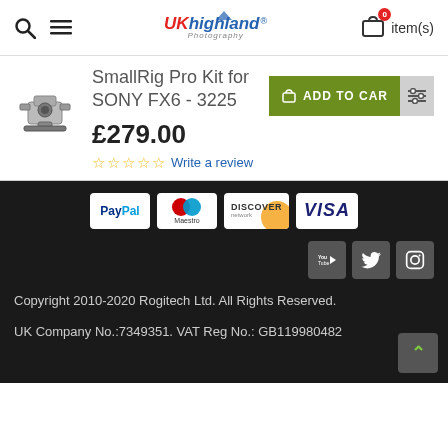UK Highland Photography — 0 item(s)
SmallRig Pro Kit for SONY FX6 - 3225
£279.00
Write a review
[Figure (screenshot): Product thumbnail image of SmallRig Pro Kit camera rig]
[Figure (infographic): Payment method icons: PayPal, Maestro, Discover, Visa]
[Figure (infographic): Social media icons: YouTube, Twitter, Instagram]
Copyright 2010-2020 Rogitech Ltd. All Rights Reserved. UK Company No.:7349351. VAT Reg No.: GB119980482